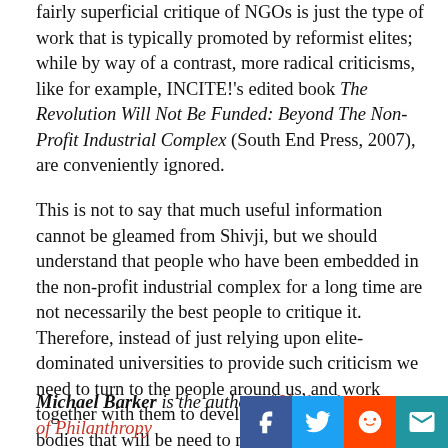fairly superficial critique of NGOs is just the type of work that is typically promoted by reformist elites; while by way of a contrast, more radical criticisms, like for example, INCITE!'s edited book The Revolution Will Not Be Funded: Beyond The Non-Profit Industrial Complex (South End Press, 2007), are conveniently ignored.
This is not to say that much useful information cannot be gleamed from Shivji, but we should understand that people who have been embedded in the non-profit industrial complex for a long time are not necessarily the best people to critique it. Therefore, instead of just relying upon elite-dominated universities to provide such criticism we need to turn to the people around us, and work together with them to develop the type of research bodies that will be need to meld theoretical and activist concerns in a manner that can truly promote revolutionary social change.
Michael Barker is the author of Under th[e...] of Philanthropy